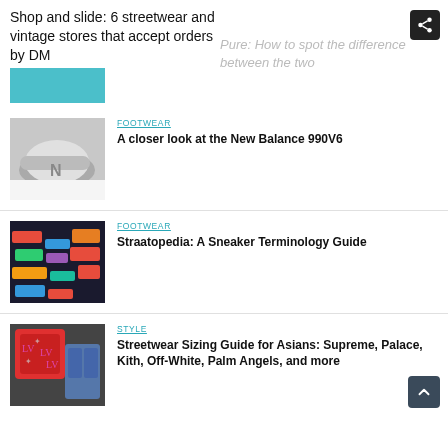Shop and slide: 6 streetwear and vintage stores that accept orders by DM
[Figure (photo): Thumbnail image strip at top, teal/cyan colored sneaker image]
[Figure (photo): New Balance 990V6 grey sneaker being held by hand]
FOOTWEAR
A closer look at the New Balance 990V6
[Figure (photo): Colorful sneakers on display shelves]
FOOTWEAR
Straatopedia: A Sneaker Terminology Guide
[Figure (photo): Red Supreme monogram cap and denim jacket style clothing]
STYLE
Streetwear Sizing Guide for Asians: Supreme, Palace, Kith, Off-White, Palm Angels, and more